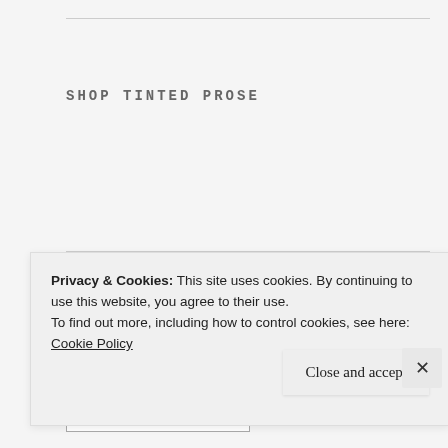SHOP TINTED PROSE
BLOG ARCHIVE
Select Month
INSTAGRAM
Privacy & Cookies: This site uses cookies. By continuing to use this website, you agree to their use.
To find out more, including how to control cookies, see here: Cookie Policy
Close and accept